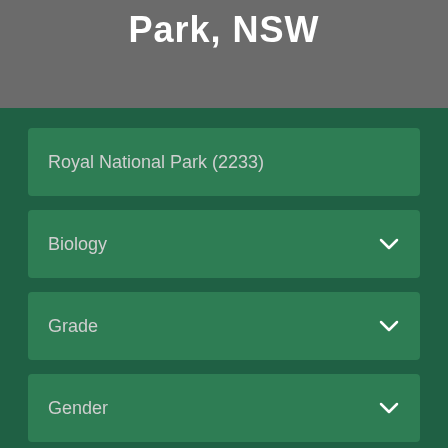Park, NSW
Royal National Park (2233)
Biology
Grade
Gender